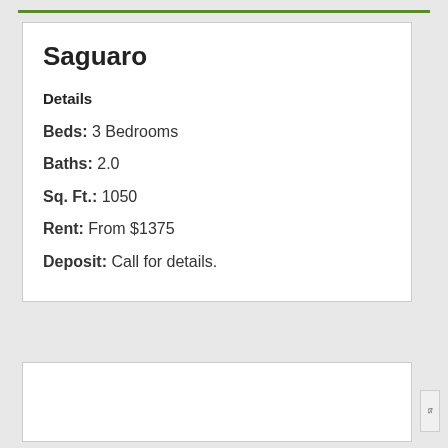Saguaro
Details
Beds: 3 Bedrooms
Baths: 2.0
Sq. Ft.: 1050
Rent: From $1375
Deposit: Call for details.